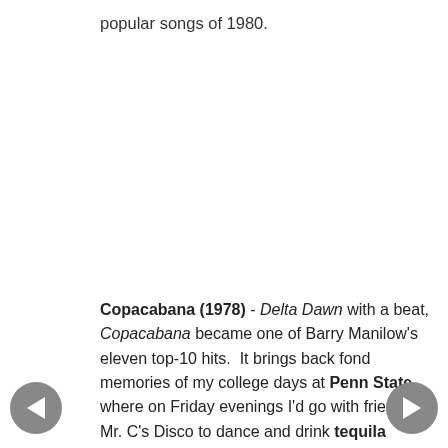popular songs of 1980.
Copacabana (1978) - Delta Dawn with a beat, Copacabana became one of Barry Manilow's eleven top-10 hits.  It brings back fond memories of my college days at Penn State where on Friday evenings I'd go with friends to Mr. C's Disco to dance and drink tequila sunrises during happy hour.